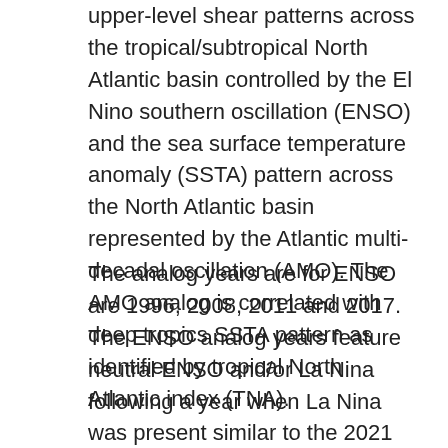upper-level shear patterns across the tropical/subtropical North Atlantic basin controlled by the El Nino southern oscillation (ENSO) and the sea surface temperature anomaly (SSTA) pattern across the North Atlantic basin represented by the Atlantic multi-decadal oscillation (AMO). The AMO analog is correlated with deep tropics SSTA pattern as identified by tropical North Atlantic index (TNA).
The analog years are for ENSO are 1996, 2008, 2011 and 2017. The ENSO analog years feature neutral ENSO and/or La Nina following a year when La Nina was present similar to the 2021 projection. The AMO/TNA analog years are 2007, 2014 and 2015. Analog year 2015 is eliminated due to the presence of El Nino. The general AMO/TNA forecast indicates an environment not as warm as the (warm) 20-year